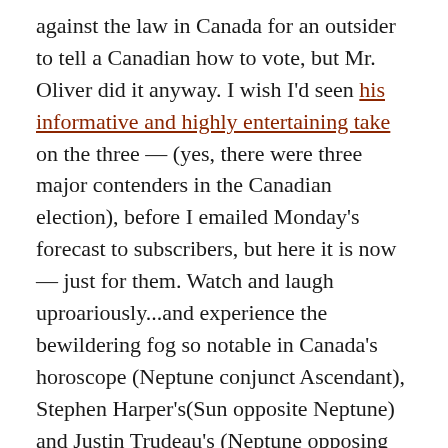against the law in Canada for an outsider to tell a Canadian how to vote, but Mr. Oliver did it anyway. I wish I'd seen his informative and highly entertaining take on the three — (yes, there were three major contenders in the Canadian election), before I emailed Monday's forecast to subscribers, but here it is now — just for them. Watch and laugh uproariously...and experience the bewildering fog so notable in Canada's horoscope (Neptune conjunct Ascendant), Stephen Harper's(Sun opposite Neptune) and Justin Trudeau's (Neptune opposing Saturn — both square Ascendant). What a weird (Neptune), wacky (Canada's Sun is conjunct Uranus). fiercely independent country it is,